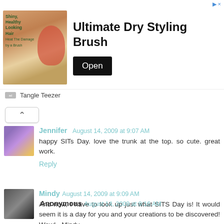[Figure (other): Advertisement banner for Tangle Teezer Ultimate Dry Styling Brush with product image, title, Open button, and brand name]
Jennifer  August 14, 2009 at 9:07 AM
happy SITs Day. love the trunk at the top. so cute. great work.
Reply
Mindy  August 14, 2009 at 9:09 AM
And now, I have to look up just what SITS Day is! It would seem it is a day for you and your creations to be discovered! Wow! ~Mindy
Reply
Anonymous  August 14, 2009 at 9:16 AM